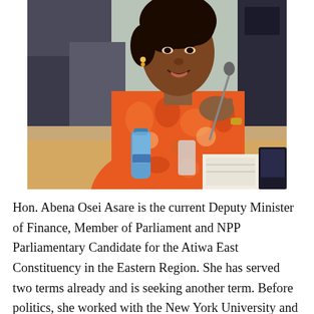[Figure (photo): Hon. Abena Osei Asare seated at a table, wearing an orange African print dress, gesturing with her hands while speaking, with a water bottle and papers on the table in front of her.]
Hon. Abena Osei Asare is the current Deputy Minister of Finance, Member of Parliament and NPP Parliamentary Candidate for the Atiwa East Constituency in the Eastern Region. She has served two terms already and is seeking another term. Before politics, she worked with the New York University and Barclays Bank in Ghana and was a successful banker and